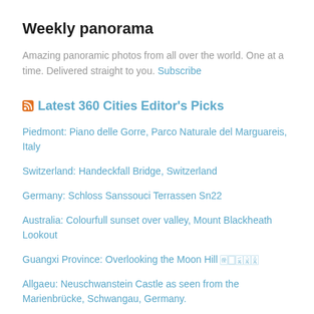Weekly panorama
Amazing panoramic photos from all over the world. One at a time. Delivered straight to you. Subscribe
Latest 360 Cities Editor's Picks
Piedmont: Piano delle Gorre, Parco Naturale del Marguareis, Italy
Switzerland: Handeckfall Bridge, Switzerland
Germany: Schloss Sanssouci Terrassen Sn22
Australia: Colourfull sunset over valley, Mount Blackheath Lookout
Guangxi Province: Overlooking the Moon Hill 🀅🀆🀇🀈🀉
Allgaeu: Neuschwanstein Castle as seen from the Marienbrücke, Schwangau, Germany.